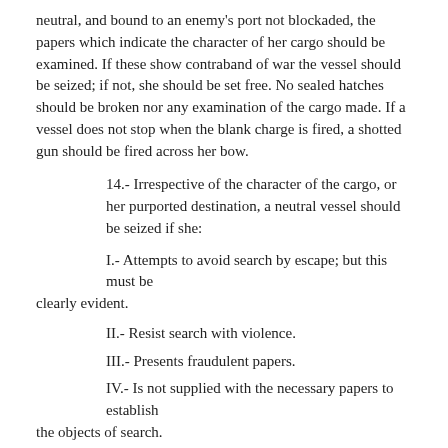neutral, and bound to an enemy's port not blockaded, the papers which indicate the character of her cargo should be examined. If these show contraband of war the vessel should be seized; if not, she should be set free. No sealed hatches should be broken nor any examination of the cargo made. If a vessel does not stop when the blank charge is fired, a shotted gun should be fired across her bow.
14.- Irrespective of the character of the cargo, or her purported destination, a neutral vessel should be seized if she:
I.- Attempts to avoid search by escape; but this must be clearly evident.
II.- Resist search with violence.
III.- Presents fraudulent papers.
IV.- Is not supplied with the necessary papers to establish the objects of search.
V.- Destroys, defaces, or conceals papers.
15.- A neutral vessel carrying hostile despatches, as a despatch vessel practically in the service of the enemy, is liable to